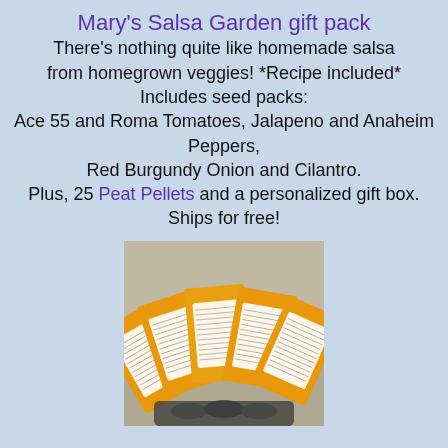Mary's Salsa Garden gift pack
There's nothing quite like homemade salsa from homegrown veggies! *Recipe included* Includes seed packs: Ace 55 and Roma Tomatoes, Jalapeno and Anaheim Peppers, Red Burgundy Onion and Cilantro. Plus, 25 Peat Pellets and a personalized gift box. Ships for free!
[Figure (photo): A fan of orange/yellow seed packets fanned out, each with a white label, displayed against a light background with some peat pellets visible at the bottom.]